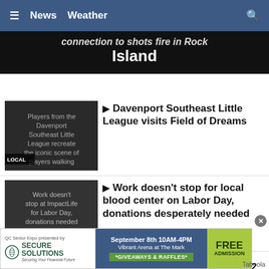≡  News  Weather  🔍
connection to shots fire in Rock Island
[Figure (screenshot): Thumbnail for Local news story: Players from the Davenport Southeast Little League recreate the iconic scene of players walking]
Players from the Davenport Southeast Little League recreate the iconic scene of players walking
▶ Davenport Southeast Little League visits Field of Dreams
[Figure (screenshot): Thumbnail for News story: Work doesn't stop at ImpactLife for Labor Day, donations needed]
Work doesn't stop at ImpactLife for Labor Day, donations needed
▶ Work doesn't stop for local blood center on Labor Day, donations desperately needed
[Figure (photo): Photo of dental implant color samples held near a person's mouth]
Here is What Full Mouth Dental Implants Should Cost You in 2022
Dental Implants | Search Ads | Sponsored
[Figure (infographic): Advertisement: QC Senior Expo presented by Secure Solutions. September 8th 10AM-4PM, Vibrant Arena at The Mark. *GIVEAWAYS & RAFFLES* FREE ADMISSION]
Taboola